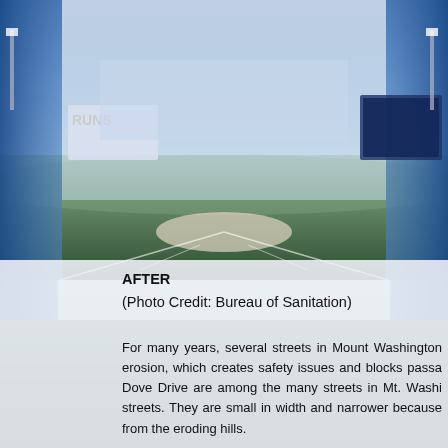[Figure (photo): Aerial/field-level view of a baseball stadium at dusk/evening, showing the field, pitcher's mound, and stadium stands with lights. Blue tones on sides, lighter center. Photo taken from field level looking toward the outfield.]
AFTER
(Photo Credit: Bureau of Sanitation)
For many years, several streets in Mount Washington erosion, which creates safety issues and blocks passa Dove Drive are among the many streets in Mt. Washi streets. They are small in width and narrower because from the eroding hills.